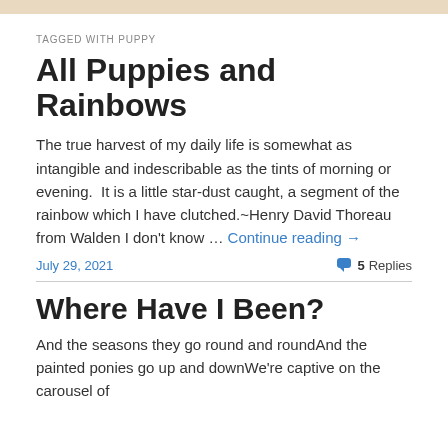TAGGED WITH PUPPY
All Puppies and Rainbows
The true harvest of my daily life is somewhat as intangible and indescribable as the tints of morning or evening.  It is a little star-dust caught, a segment of the rainbow which I have clutched.~Henry David Thoreau from Walden I don't know … Continue reading →
July 29, 2021   5 Replies
Where Have I Been?
And the seasons they go round and roundAnd the painted ponies go up and downWe're captive on the carousel of